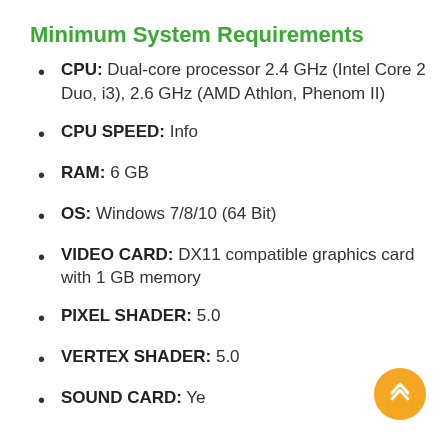Minimum System Requirements
CPU: Dual-core processor 2.4 GHz (Intel Core 2 Duo, i3), 2.6 GHz (AMD Athlon, Phenom II)
CPU SPEED: Info
RAM: 6 GB
OS: Windows 7/8/10 (64 Bit)
VIDEO CARD: DX11 compatible graphics card with 1 GB memory
PIXEL SHADER: 5.0
VERTEX SHADER: 5.0
SOUND CARD: Yes